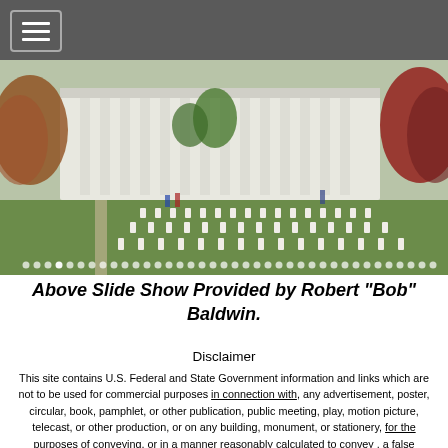[Figure (photo): Aerial/ground-level view of Arlington National Cemetery with white memorial building in the background and rows of white grave markers in the foreground, surrounded by trees with autumn foliage.]
Above Slide Show Provided by Robert "Bob" Baldwin.
Disclaimer
This site contains U.S. Federal and State Government information and links which are not to be used for commercial purposes in connection with, any advertisement, poster, circular, book, pamphlet, or other publication, public meeting, play, motion picture, telecast, or other production, or on any building, monument, or stationery, for the purposes of conveying, or in a manner reasonably calculated to convey , a false impression of sponsorship or approval by the Government for the United States or by any department,